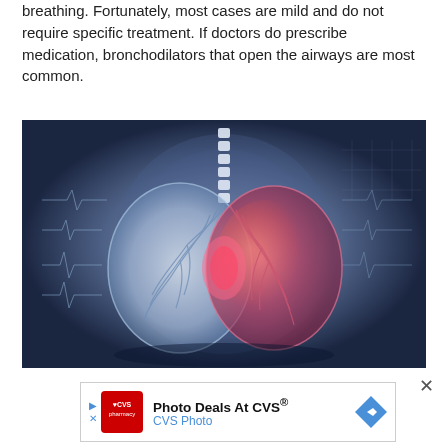breathing. Fortunately, most cases are mild and do not require specific treatment. If doctors do prescribe medication, bronchodilators that open the airways are most common.
[Figure (illustration): Medical illustration of human lungs with bronchial tree shown in pink/red highlight against a blue X-ray background with ECG waveform lines. The spine/trachea is visible at the top center with white striped detail.]
Photo Deals At CVS® CVS Photo